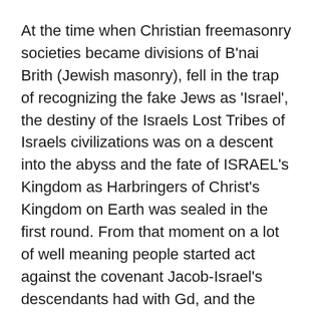At the time when Christian freemasonry societies became divisions of B'nai Brith (Jewish masonry), fell in the trap of recognizing the fake Jews as 'Israel', the destiny of the Israels Lost Tribes of Israels civilizations was on a descent into the abyss and the fate of ISRAEL's Kingdom as Harbringers of Christ's Kingdom on Earth was sealed in the first round. From that moment on a lot of well meaning people started act against the covenant Jacob-Israel's descendants had with Gd, and the Kingdom of Anti-Christ (Jewry) became the utopian satanic talmudic religion from Babylon of the day, as per end times prophecies in the Holy Bible.
Anyway, there WILL BE a second round, a spiritual battle to fight for humanity's souls. That is another